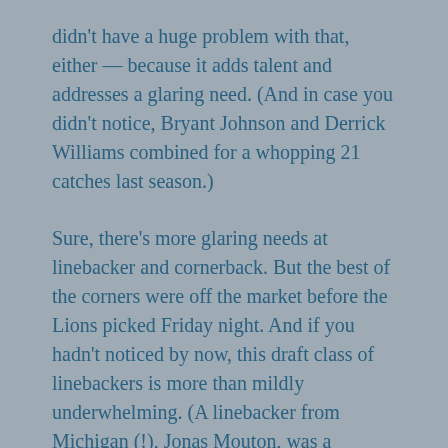didn't have a huge problem with that, either — because it adds talent and addresses a glaring need. (And in case you didn't notice, Bryant Johnson and Derrick Williams combined for a whopping 21 catches last season.)
Sure, there's more glaring needs at linebacker and cornerback. But the best of the corners were off the market before the Lions picked Friday night. And if you hadn't noticed by now, this draft class of linebackers is more than mildly underwhelming. (A linebacker from Michigan (!), Jonas Mouton, was a second-round pick.)